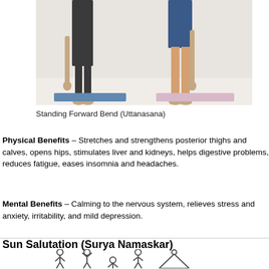[Figure (photo): Two people doing Standing Forward Bend (Uttanasana) yoga pose on yoga mats in a light-colored studio. Showing lower halves of bodies, hands reaching toward the floor.]
Standing Forward Bend (Uttanasana)
Physical Benefits – Stretches and strengthens posterior thighs and calves, opens hips, stimulates liver and kidneys, helps digestive problems, reduces fatigue, eases insomnia and headaches.
Mental Benefits – Calming to the nervous system, relieves stress and anxiety, irritability, and mild depression.
Sun Salutation (Surya Namaskar)
[Figure (illustration): Stick figure icons showing various yoga poses of Sun Salutation (Surya Namaskar) sequence.]